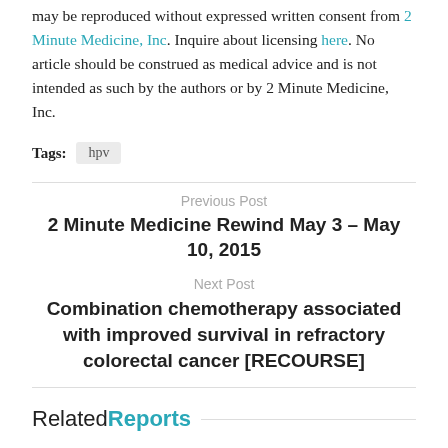may be reproduced without expressed written consent from 2 Minute Medicine, Inc. Inquire about licensing here. No article should be construed as medical advice and is not intended as such by the authors or by 2 Minute Medicine, Inc.
Tags: hpv
Previous Post
2 Minute Medicine Rewind May 3 – May 10, 2015
Next Post
Combination chemotherapy associated with improved survival in refractory colorectal cancer [RECOURSE]
RelatedReports